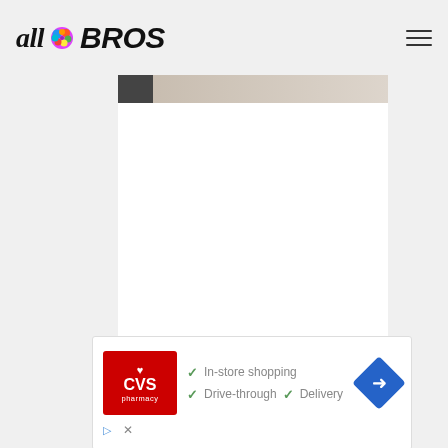[Figure (logo): allBROS website logo with colorful brain graphic between 'all' in italic serif and 'BROS' in bold italic sans-serif]
[Figure (screenshot): Main content area showing a partial photo at the top with dark left edge and light beige/peach tones, large white content box below]
[Figure (screenshot): CVS Pharmacy advertisement banner showing CVS logo in red, checkmarks next to 'In-store shopping', 'Drive-through', and 'Delivery' text, and a blue navigation diamond arrow icon]